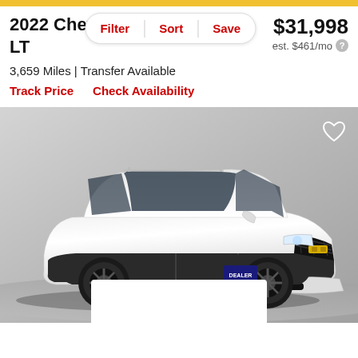2022 Chevrolet Trailblazer LT
$31,998
est. $461/mo
3,659 Miles | Transfer Available
Track Price   Check Availability
[Figure (photo): White 2022 Chevrolet Trailblazer LT SUV photographed from the front-left angle on a gray studio background]